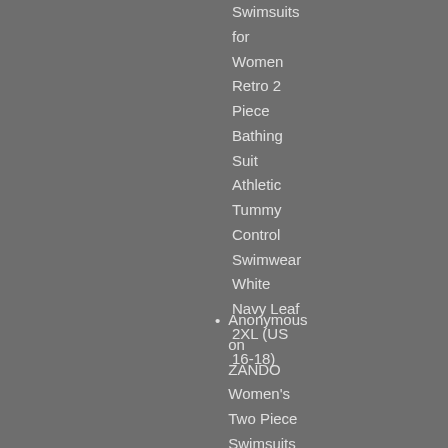Swimsuits for Women Retro 2 Piece Bathing Suit Athletic Tummy Control Swimwear White Navy Leaf 2XL (US 16-18)
Anonymous on ZANDO Women's Two Piece Swimsuits Printed Tankini